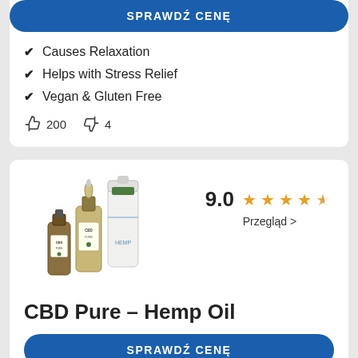SPRAWDŹ CENĘ
Causes Relaxation
Helps with Stress Relief
Vegan & Gluten Free
👍 200   👎 4
[Figure (photo): CBD Pure Hemp Oil product photo showing two bottles and a tube]
9.0 ★★★★½  Przegląd >
CBD Pure – Hemp Oil
SPRAWDŹ CENĘ
CBD from 100% Organically-grown Hemp
Organic & Pure